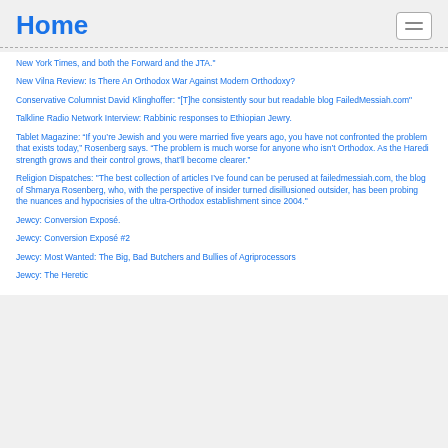Home
New York Times, and both the Forward and the JTA."
New Vilna Review: Is There An Orthodox War Against Modern Orthodoxy?
Conservative Columnist David Klinghoffer: "[T]he consistently sour but readable blog FailedMessiah.com"
Talkline Radio Network Interview: Rabbinic responses to Ethiopian Jewry.
Tablet Magazine: “If you’re Jewish and you were married five years ago, you have not confronted the problem that exists today,” Rosenberg says. “The problem is much worse for anyone who isn’t Orthodox. As the Haredi strength grows and their control grows, that’ll become clearer.”
Religion Dispatches: "The best collection of articles I’ve found can be perused at failedmessiah.com, the blog of Shmarya Rosenberg, who, with the perspective of insider turned disillusioned outsider, has been probing the nuances and hypocrisies of the ultra-Orthodox establishment since 2004."
Jewcy: Conversion Exposé.
Jewcy: Conversion Exposé #2
Jewcy: Most Wanted: The Big, Bad Butchers and Bullies of Agriprocessors
Jewcy: The Heretic